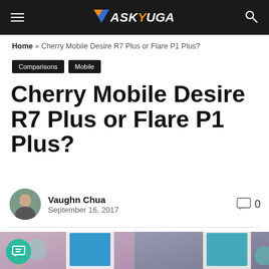ASKYUGA
Home » Cherry Mobile Desire R7 Plus or Flare P1 Plus?
Comparisons  Mobile
Cherry Mobile Desire R7 Plus or Flare P1 Plus?
Vaughn Chua
September 16, 2017
[Figure (photo): Two Cherry Mobile smartphones side by side showing their front displays with Google search bar visible on screen]